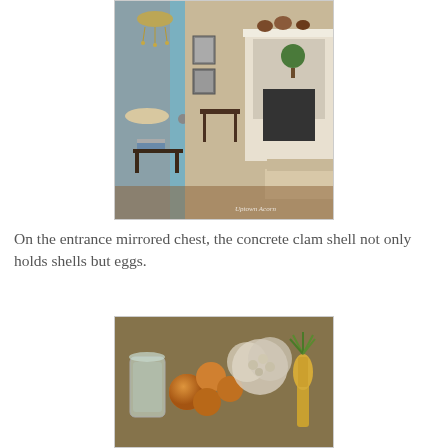[Figure (photo): Interior room photo showing a blue door/frame on the left side with a view through to a living room featuring a white fireplace mantel with decorative items, a chandelier, coffee table with books, and seating. Watermark reads 'Uptown Acorn' in bottom right corner.]
On the entrance mirrored chest, the concrete clam shell not only holds shells but eggs.
[Figure (photo): Close-up photo of decorative items on a mirrored chest surface including a glass jar, amber/orange decorative balls, a hydrangea arrangement, and a gold pineapple figurine.]